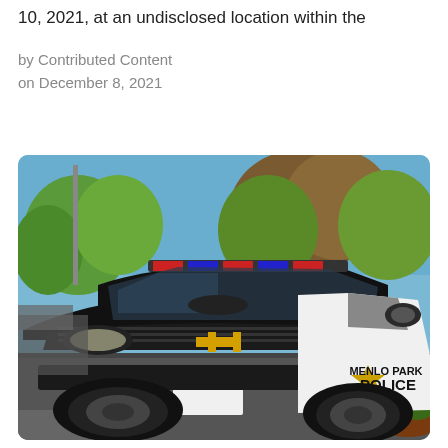10, 2021, at an undisclosed location within the
by Contributed Content
on December 8, 2021
[Figure (photo): A black and white Menlo Park Police Department Chevrolet SUV patrol vehicle parked in a parking lot, with trees and blue sky in the background. The vehicle displays 'MENLO PARK POLICE' text and a gold star badge on the door.]